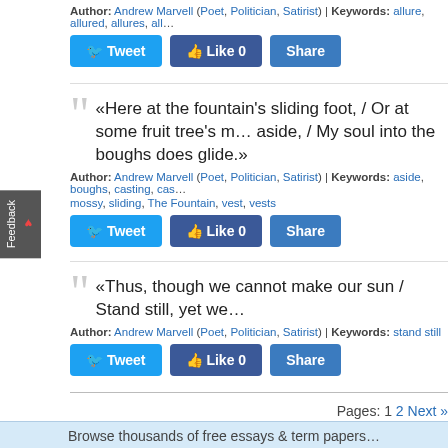Author: Andrew Marvell (Poet, Politician, Satirist) | Keywords: allure, allured, allures, all...
[Figure (screenshot): Tweet, Like 0, Share social sharing buttons]
«Here at the fountain's sliding foot, / Or at some fruit tree's mossy root, / Casting the body's vest aside, / My soul into the boughs does glide.»
Author: Andrew Marvell (Poet, Politician, Satirist) | Keywords: aside, boughs, casting, cast... mossy, sliding, The Fountain, vest, vests
[Figure (screenshot): Tweet, Like 0, Share social sharing buttons]
«Thus, though we cannot make our sun / Stand still, yet we...»
Author: Andrew Marvell (Poet, Politician, Satirist) | Keywords: stand still
[Figure (screenshot): Tweet, Like 0, Share social sharing buttons]
Pages: 1 2 Next »
Browse thousands of free essays & term papers...